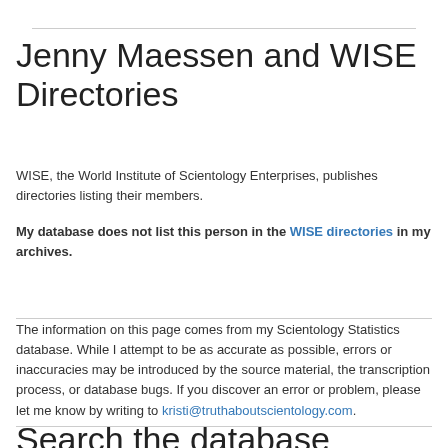Jenny Maessen and WISE Directories
WISE, the World Institute of Scientology Enterprises, publishes directories listing their members.
My database does not list this person in the WISE directories in my archives.
The information on this page comes from my Scientology Statistics database. While I attempt to be as accurate as possible, errors or inaccuracies may be introduced by the source material, the transcription process, or database bugs. If you discover an error or problem, please let me know by writing to kristi@truthaboutscientology.com.
Search the database